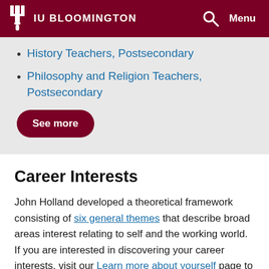IU BLOOMINGTON
History Teachers, Postsecondary
Philosophy and Religion Teachers, Postsecondary
See more
Career Interests
John Holland developed a theoretical framework consisting of six general themes that describe broad areas interest relating to self and the working world. If you are interested in discovering your career interests, visit our Learn more about yourself page to learn about